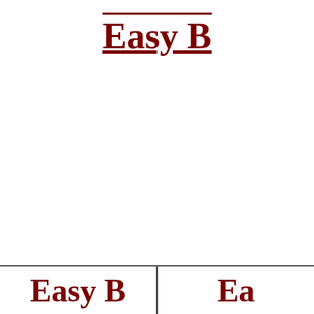Easy B
| Easy B | Ea… |
| --- | --- |